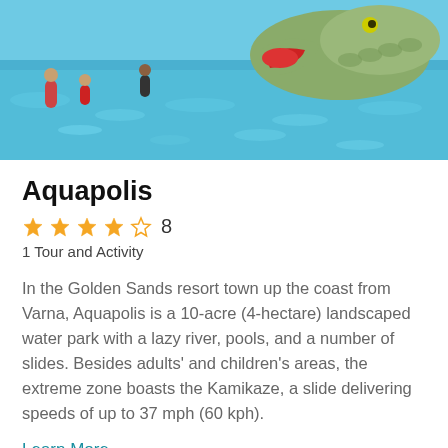[Figure (photo): Water park photo showing a large crocodile/dinosaur themed water slide with a red slide mouth, blue pool water, and people playing in the water park at Aquapolis]
Aquapolis
★★★★☆ 8
1 Tour and Activity
In the Golden Sands resort town up the coast from Varna, Aquapolis is a 10-acre (4-hectare) landscaped water park with a lazy river, pools, and a number of slides. Besides adults' and children's areas, the extreme zone boasts the Kamikaze, a slide delivering speeds of up to 37 mph (60 kph).
Learn More